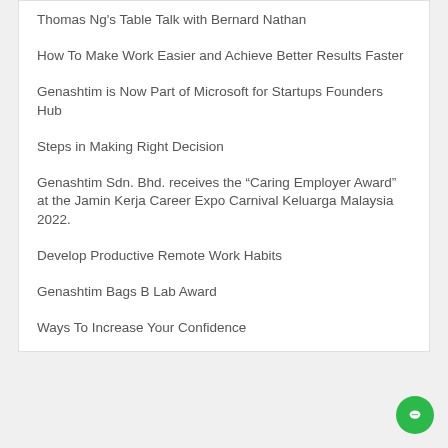Thomas Ng's Table Talk with Bernard Nathan
How To Make Work Easier and Achieve Better Results Faster
Genashtim is Now Part of Microsoft for Startups Founders Hub
Steps in Making Right Decision
Genashtim Sdn. Bhd. receives the “Caring Employer Award” at the Jamin Kerja Career Expo Carnival Keluarga Malaysia 2022.
Develop Productive Remote Work Habits
Genashtim Bags B Lab Award
Ways To Increase Your Confidence
[Figure (other): Green circular chat/messaging button in the bottom-right corner]